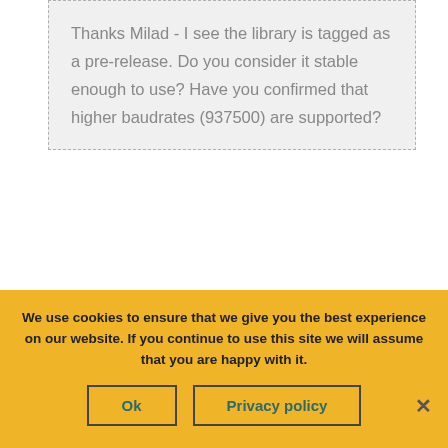Thanks Milad - I see the library is tagged as a pre-release. Do you consider it stable enough to use? Have you confirmed that higher baudrates (937500) are supported?
That library is a final release with support for CANopen so you can freely use them, the higher baud rates are supported too for UART, although for best perfomance and robustness I recommend you to use the CANopen as it's much easier also to network the units.
We use cookies to ensure that we give you the best experience on our website. If you continue to use this site we will assume that you are happy with it.